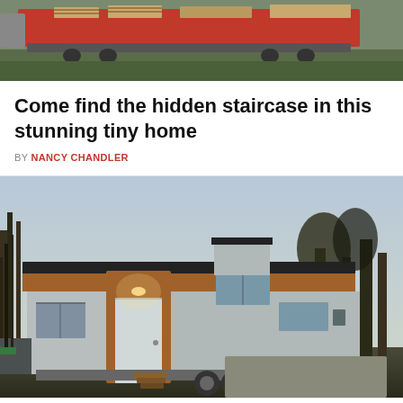[Figure (photo): Top photo showing a flatbed truck trailer with wooden pallets and cargo on a grassy area]
Come find the hidden staircase in this stunning tiny home
BY NANCY CHANDLER
[Figure (photo): Exterior photo of a modern tiny home on wheels with grey siding, wood accent trim, lit entrance door, and steps, taken at dusk with trees in background]
© SmallerLiving.org  About Ads  Terms  Privacy  Do Not Sell My Info